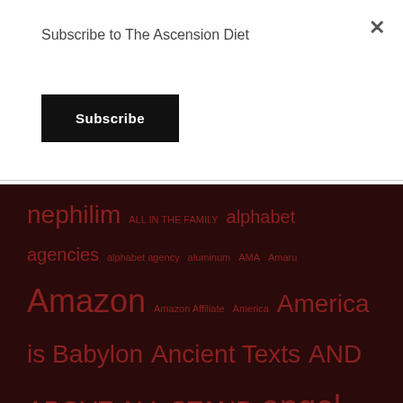Subscribe to The Ascension Diet
Subscribe
nephilim ALL IN THE FAMILY alphabet agencies alphabet agency aluminum AMA Amaru Amazon Amazon Affiliate America America is Babylon Ancient Texts AND ABOVE ALL STAND angel angels angels visible animal behavior Animals Annunaki annunaki nephilim government abuse of humans Antarctica antedeluvian antediluvian anthelmintics anti-parasite diet antichrist antideluvian Anubis Anunnaki anunnaki medical establishment anxiety apocalypse Apocrypha Apophis apostacy apple apps archons arctic art